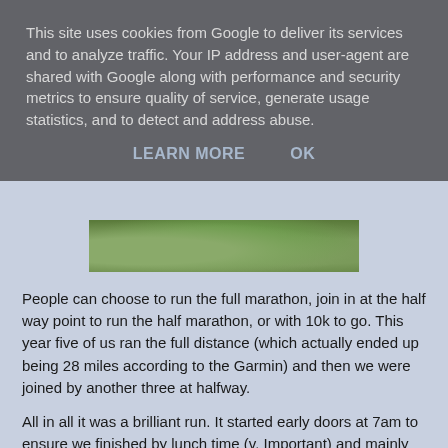This site uses cookies from Google to deliver its services and to analyze traffic. Your IP address and user-agent are shared with Google along with performance and security metrics to ensure quality of service, generate usage statistics, and to detect and address abuse.
LEARN MORE   OK
[Figure (photo): Strip of green mossy/grassy terrain viewed from above, partial width centered]
People can choose to run the full marathon, join in at the half way point to run the half marathon, or with 10k to go. This year five of us ran the full distance (which actually ended up being 28 miles according to the Garmin) and then we were joined by another three at halfway.
All in all it was a brilliant run. It started early doors at 7am to ensure we finished by lunch time (v. Important) and mainly followed the Chiltern Way, through glorious rolling farmland and woods. Pretty much all of the route was offroad. At this time of year it was m.u.d.d.y – which was great for me, as it gave me a chance to run in difficult conditions, AND with